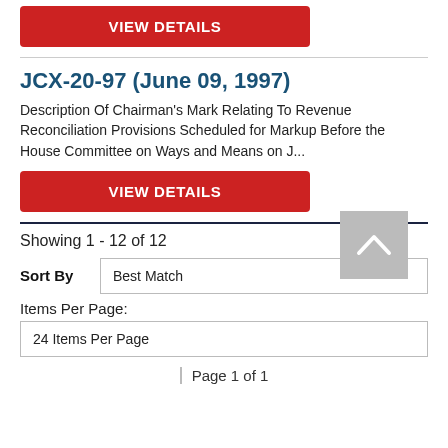[Figure (other): Red VIEW DETAILS button at top of page]
JCX-20-97 (June 09, 1997)
Description Of Chairman's Mark Relating To Revenue Reconciliation Provisions Scheduled for Markup Before the House Committee on Ways and Means on J...
[Figure (other): Red VIEW DETAILS button below description]
Showing 1 - 12 of 12
Sort By   Best Match
Items Per Page:
24 Items Per Page
Page 1 of 1